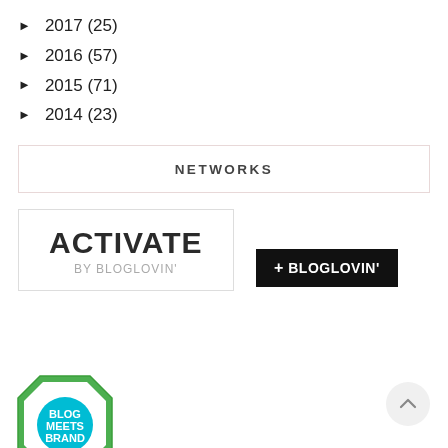► 2017 (25)
► 2016 (57)
► 2015 (71)
► 2014 (23)
NETWORKS
[Figure (logo): Activate by Bloglovin' logo in a bordered box]
[Figure (logo): Bloglovin' follow button — black background with + BLOGLOVIN' text]
[Figure (logo): Blog Meets Brand approved badge — green octagonal badge with teal circle]